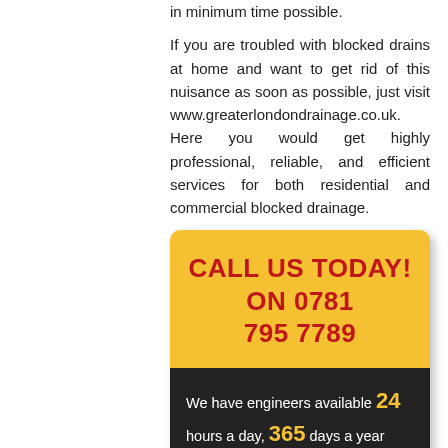in minimum time possible. If you are troubled with blocked drains at home and want to get rid of this nuisance as soon as possible, just visit www.greaterlondondrainage.co.uk. Here you would get highly professional, reliable, and efficient services for both residential and commercial blocked drainage.
[Figure (infographic): Yellow and dark card with phone number 'CALL US TODAY! ON 0781 795 7789', engineers available 24 hours a day, 365 days a year, Fixed price £100 exc VAT]